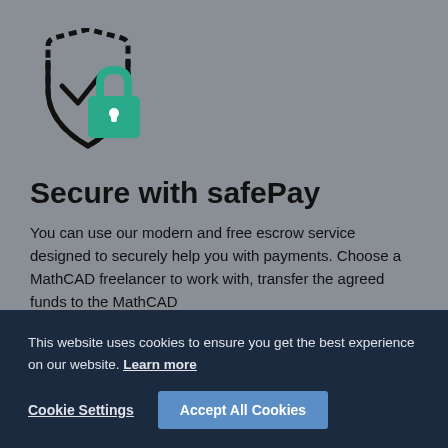[Figure (illustration): Shield with checkmark and teal padlock icon overlapping, outline style with dark stroke]
Secure with safePay
You can use our modern and free escrow service designed to securely help you with payments. Choose a MathCAD freelancer to work with, transfer the agreed funds to the MathCAD
This website uses cookies to ensure you get the best experience on our website. Learn more
Cookie Settings
Accept All Cookies